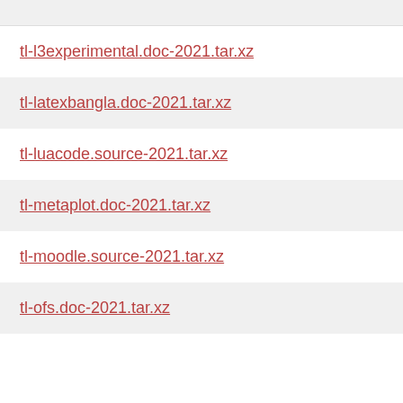tl-l3experimental.doc-2021.tar.xz
tl-latexbangla.doc-2021.tar.xz
tl-luacode.source-2021.tar.xz
tl-metaplot.doc-2021.tar.xz
tl-moodle.source-2021.tar.xz
tl-ofs.doc-2021.tar.xz